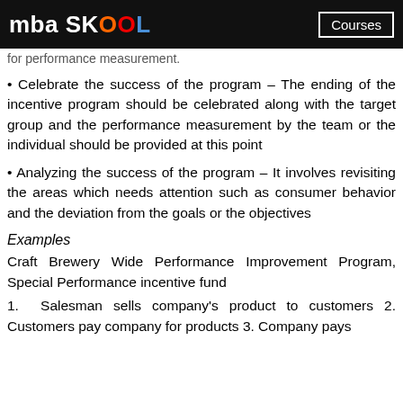mba SKOOL | Courses
for performance measurement.
• Celebrate the success of the program – The ending of the incentive program should be celebrated along with the target group and the performance measurement by the team or the individual should be provided at this point
• Analyzing the success of the program – It involves revisiting the areas which needs attention such as consumer behavior and the deviation from the goals or the objectives
Examples
Craft Brewery Wide Performance Improvement Program, Special Performance incentive fund
1. Salesman sells company's product to customers 2. Customers pay company for products 3. Company pays